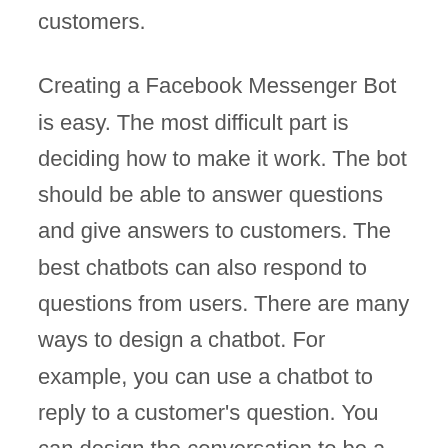customers.
Creating a Facebook Messenger Bot is easy. The most difficult part is deciding how to make it work. The bot should be able to answer questions and give answers to customers. The best chatbots can also respond to questions from users. There are many ways to design a chatbot. For example, you can use a chatbot to reply to a customer's question. You can design the conversation to be a friendly way to build a relationship with your customer.